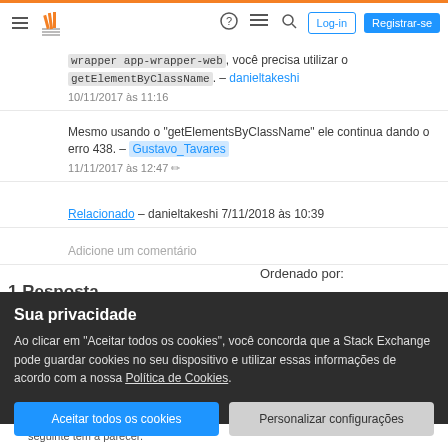Stack Overflow navigation bar with hamburger menu, logo, help, chat, search icons, Log-in and Registrar-se buttons
wrapper app-wrapper-web , você precisa utilizar o getElementsByClassName . – danieltakeshi 10/11/2017 às 11:16
Mesmo usando o "getElementsByName" ele continua dando o erro 438. – Gustavo_Tavares 11/11/2017 às 12:47
Relacionado – danieltakeshi 7/11/2018 às 10:39
Adicione um comentário
Ordenado por:
1 Resposta
Sua privacidade
Ao clicar em "Aceitar todos os cookies", você concorda que a Stack Exchange pode guardar cookies no seu dispositivo e utilizar essas informações de acordo com a nossa Política de Cookies.
Aceitar todos os cookies
Personalizar configurações